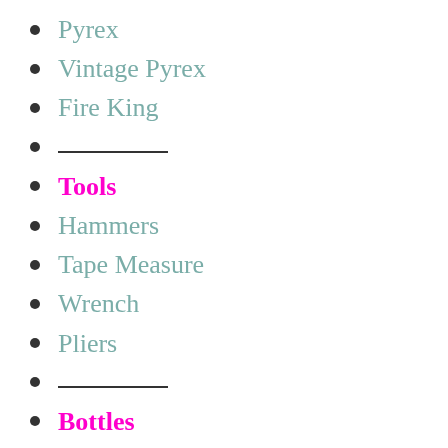Pyrex
Vintage Pyrex
Fire King
___________
Tools
Hammers
Tape Measure
Wrench
Pliers
___________
Bottles
Baby Bottles
Water Bottles
Glass Bottles